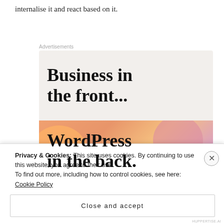internalise it and react based on it.
[Figure (screenshot): Advertisement banner showing 'Business in the front...' in dark text on light beige background, and 'WordPress in the back.' in dark text on a colorful peach/pink gradient background with organic blob shapes. Labeled 'Advertisements' at the top.]
Privacy & Cookies: This site uses cookies. By continuing to use this website, you agree to their use.
To find out more, including how to control cookies, see here: Cookie Policy
Close and accept